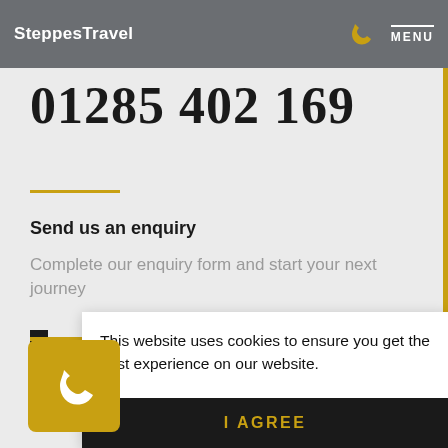SteppesTravel  MENU
01285 402 169
Send us an enquiry
Complete our enquiry form and start your next journey
This website uses cookies to ensure you get the best experience on our website.
Our cookie policy
I AGREE
Click here to schedule your free callback.